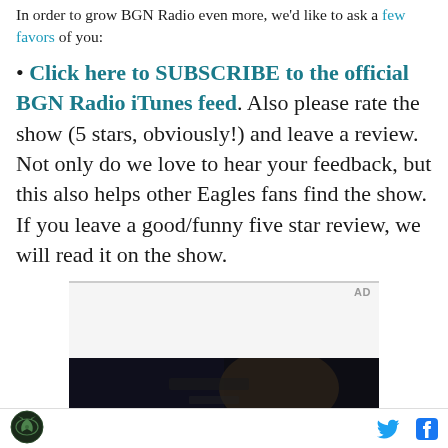In order to grow BGN Radio even more, we'd like to ask a few favors of you:
• Click here to SUBSCRIBE to the official BGN Radio iTunes feed. Also please rate the show (5 stars, obviously!) and leave a review. Not only do we love to hear your feedback, but this also helps other Eagles fans find the show. If you leave a good/funny five star review, we will read it on the show.
[Figure (screenshot): Advertisement box with 'AD' label and a dark photo showing a person using a phone in a car interior]
BGN logo icon | Twitter bird icon | Facebook f icon